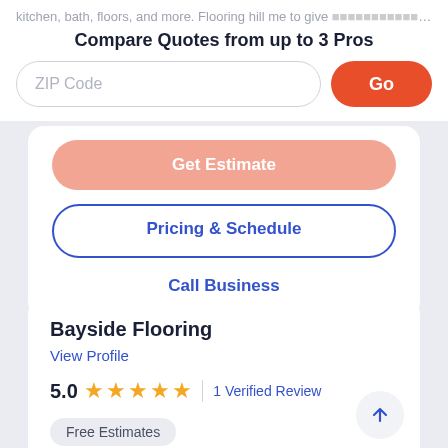kitchen, bath, floors, and more. Flooring hill me to give (partial text cut off)
Compare Quotes from up to 3 Pros
ZIP Code
Go
Get Estimate (partial)
Pricing & Schedule
Call Business
Bayside Flooring
View Profile
5.0 ★★★★★ | 1 Verified Review
Free Estimates